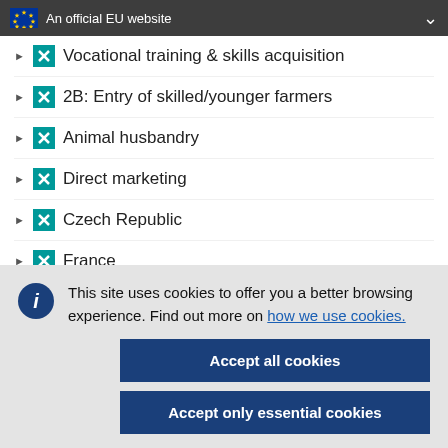An official EU website
Vocational training & skills acquisition
2B: Entry of skilled/younger farmers
Animal husbandry
Direct marketing
Czech Republic
France
This site uses cookies to offer you a better browsing experience. Find out more on how we use cookies.
Accept all cookies
Accept only essential cookies